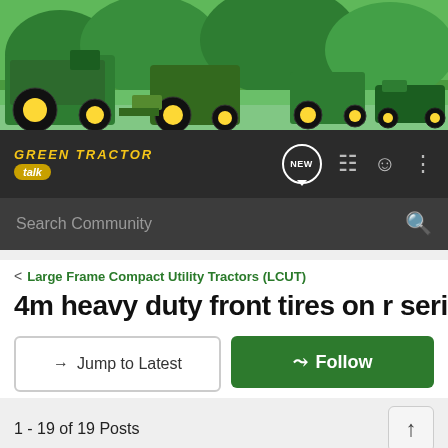[Figure (photo): Hero banner showing green John Deere tractors and lawn equipment against a green background]
[Figure (logo): Green Tractor Talk forum logo with yellow stylized text]
Search Community
< Large Frame Compact Utility Tractors (LCUT)
4m heavy duty front tires on r series
→ Jump to Latest
⊕ Follow
1 - 19 of 19 Posts
[Figure (screenshot): GroundOS advertisement banner: The nation's top land brokers run on GroundOS. REQUEST A DEMO]